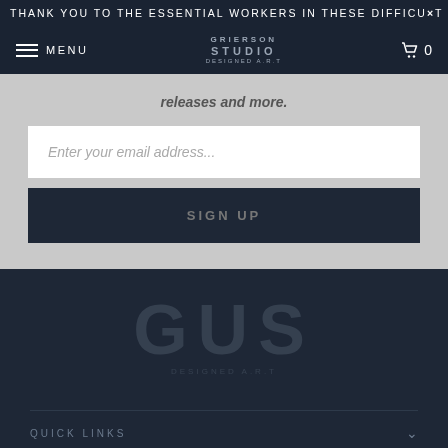THANK YOU TO THE ESSENTIAL WORKERS IN THESE DIFFICULT
[Figure (screenshot): Navigation bar with hamburger menu icon, MENU label, Grierson Studio logo in center, and cart icon with 0 count on right]
releases and more.
Enter your email address...
SIGN UP
[Figure (logo): Grierson Studio logo watermark in dark footer, large monogram letters GS with tagline below, very faint/transparent]
QUICK LINKS